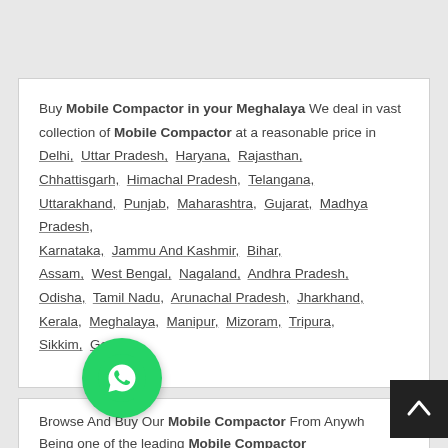Buy Mobile Compactor in your Meghalaya We deal in vast collection of Mobile Compactor at a reasonable price in Delhi, Uttar Pradesh, Haryana, Rajasthan, Chhattisgarh, Himachal Pradesh, Telangana, Uttarakhand, Punjab, Maharashtra, Gujarat, Madhya Pradesh, Karnataka, Jammu And Kashmir, Bihar, Assam, West Bengal, Nagaland, Andhra Pradesh, Odisha, Tamil Nadu, Arunachal Pradesh, Jharkhand, Kerala, Meghalaya, Manipur, Mizoram, Tripura, Sikkim, Goa,
[Figure (illustration): WhatsApp green circular button icon]
[Figure (illustration): Back to top button - dark square with upward arrow]
Browse And Buy Our Mobile Compactor From Anywh... Being one of the leading Mobile Compactor...